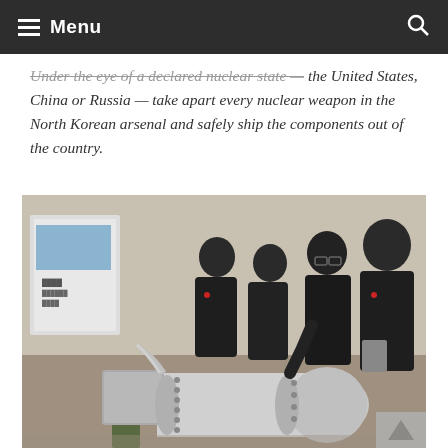Menu
Under the eye of a declared nuclear state — like the United States, China or Russia — take apart every nuclear weapon in the North Korean arsenal and safely ship the components out of the country.
[Figure (photo): North Korea's leader Kim Jong-un and officials inspecting what appears to be a hydrogen bomb device in a facility.]
North Korea released a photograph of the country's leader, Kim Jong-un, center, inspecting what it said was a hydrogen bomb that could be fitted atop a long-range missile. Korean